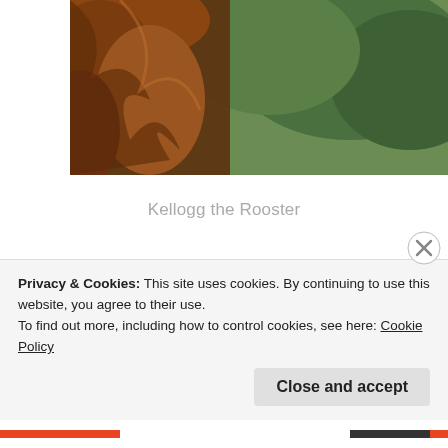[Figure (photo): Partial top-cropped photo of a rooster with orange-brown feathers against green foliage background]
Kellogg the Rooster
[Figure (photo): A herd of black cattle standing in a dry grass field behind a wire fence, with trees in the background]
Privacy & Cookies: This site uses cookies. By continuing to use this website, you agree to their use.
To find out more, including how to control cookies, see here: Cookie Policy
Close and accept